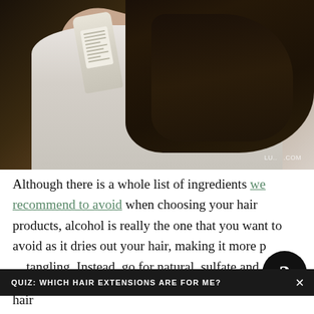[Figure (photo): Woman with long dark hair holding a hair product bottle (cream/white), wearing a white/grey textured top, photographed from chest up against a dark background. Watermark reads LU...COM in bottom right.]
Although there is a whole list of ingredients we recommend to avoid when choosing your hair products, alcohol is really the one that you want to avoid as it dries out your hair, making it more prone to tangling. Instead, go for natural, sulfate and alcohol-hair
QUIZ: WHICH HAIR EXTENSIONS ARE FOR ME?